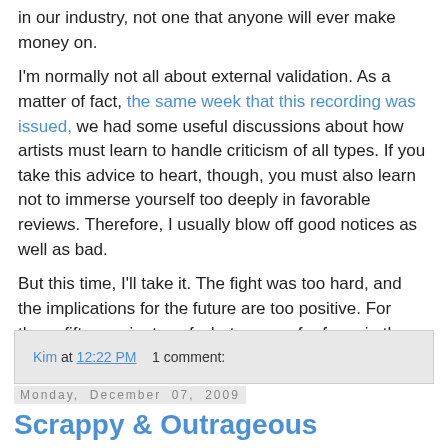in our industry, not one that anyone will ever make money on.
I'm normally not all about external validation. As a matter of fact, the same week that this recording was issued, we had some useful discussions about how artists must learn to handle criticism of all types. If you take this advice to heart, though, you must also learn not to immerse yourself too deeply in favorable reviews. Therefore, I usually blow off good notices as well as bad.
But this time, I'll take it. The fight was too hard, and the implications for the future are too positive. For these fifteen minutes of what passes for fame in the opera world, we're going to enjoy ourselves.
Kim at 12:22 PM    1 comment:
Monday, December 07, 2009
Scrappy & Outrageous